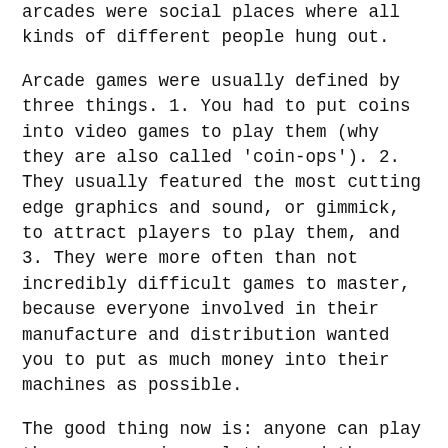arcades were social places where all kinds of different people hung out.
Arcade games were usually defined by three things. 1. You had to put coins into video games to play them (why they are also called 'coin-ops'). 2. They usually featured the most cutting edge graphics and sound, or gimmick, to attract players to play them, and 3. They were more often than not incredibly difficult games to master, because everyone involved in their manufacture and distribution wanted you to put as much money into their machines as possible.
The good thing now is: anyone can play these games via emulation and they are quite common. Get a good emulator, like MAME for example, and you can have that arcade experience in your own home, without the need for cabinets. Of course there will always be those who prefer the real thing and have arcade machines in their own